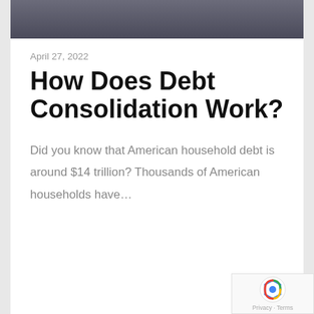[Figure (photo): Partial photo of people seated, showing legs/lower body, used as article header image strip]
April 27, 2022
How Does Debt Consolidation Work?
Did you know that American household debt is around $14 trillion? Thousands of American households have…